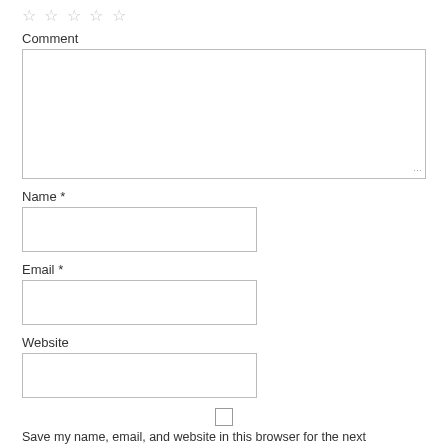[Figure (other): Five empty star rating icons in a row]
Comment
[Figure (other): Large comment text area input box]
Name *
[Figure (other): Name text input field]
Email *
[Figure (other): Email text input field]
Website
[Figure (other): Website text input field]
[Figure (other): Checkbox (unchecked)]
Save my name, email, and website in this browser for the next